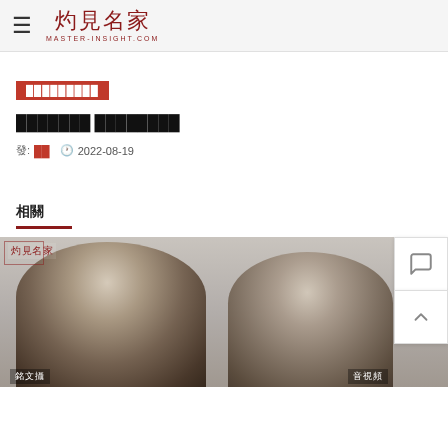灼見名家 MASTER-INSIGHT.COM
█████████
███████ ████████
發: █  🕐 2022-08-19
相關
[Figure (photo): Two people standing, blurred background with master-insight logo watermark and name labels at bottom]